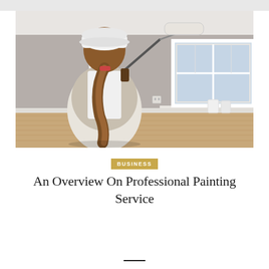[Figure (photo): A woman seen from behind wearing a white baseball cap, ponytail of brown hair, white apron over a beige jacket, holding a paint roller up toward a gray wall. The room has a large white-framed window, wood floor, and white baseboard. Paint supplies are on the floor near the wall.]
BUSINESS
An Overview On Professional Painting Service